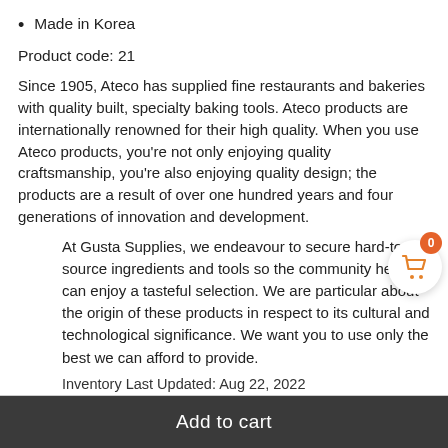Made in Korea
Product code: 21
Since 1905, Ateco has supplied fine restaurants and bakeries with quality built, specialty baking tools. Ateco products are internationally renowned for their high quality. When you use Ateco products, you're not only enjoying quality craftsmanship, you're also enjoying quality design; the products are a result of over one hundred years and four generations of innovation and development.
At Gusta Supplies, we endeavour to secure hard-to-source ingredients and tools so the community here can enjoy a tasteful selection. We are particular about the origin of these products in respect to its cultural and technological significance. We want you to use only the best we can afford to provide.
Inventory Last Updated: Aug 22, 2022
Add to cart